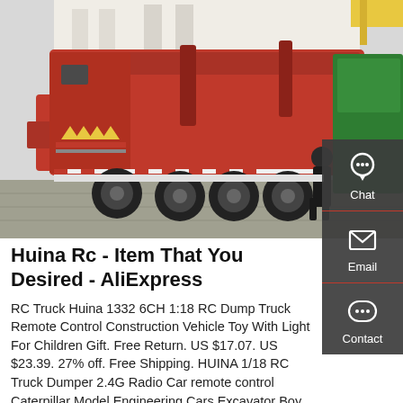[Figure (photo): Red garbage/dump trucks parked at a facility. Large red rear-loading compactor trucks visible, with yellow/red safety chevrons. A green truck partially visible on the right. A worker in dark clothing stands near the trucks. Background shows a white building with columns.]
Huina Rc - Item That You Desired - AliExpress
RC Truck Huina 1332 6CH 1:18 RC Dump Truck Remote Control Construction Vehicle Toy With Light For Children Gift. Free Return. US $17.07. US $23.39. 27% off. Free Shipping. HUINA 1/18 RC Truck Dumper 2.4G Radio Car remote control Caterpillar Model Engineering Cars Excavator Boy toys radio